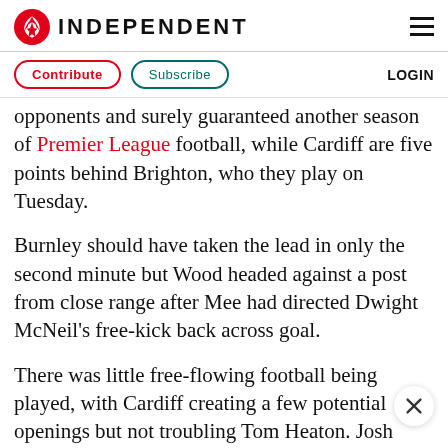INDEPENDENT
Contribute | Subscribe | LOGIN
opponents and surely guaranteed another season of Premier League football, while Cardiff are five points behind Brighton, who they play on Tuesday.
Burnley should have taken the lead in only the second minute but Wood headed against a post from close range after Mee had directed Dwight McNeil's free-kick back across goal.
There was little free-flowing football being played, with Cardiff creating a few potential openings but not troubling Tom Heaton. Josh